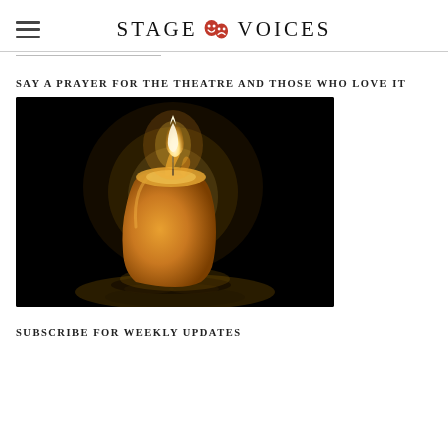STAGE VOICES
SAY A PRAYER FOR THE THEATRE AND THOSE WHO LOVE IT
[Figure (photo): A lit candle with melted wax glowing warmly against a dark black background, placed on a reflective surface.]
SUBSCRIBE FOR WEEKLY UPDATES